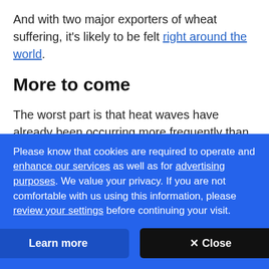And with two major exporters of wheat suffering, it's likely to be felt right around the world.
More to come
The worst part is that heat waves have already been occurring more frequently than pre-industrial times and are expected to rise.
In the most recent Intergovernmental Panel on Climate
Please know that cookies are required to operate and enhance our services as well as for advertising purposes. We value your privacy. If you are not comfortable with us using this information, please review your settings before continuing your visit.
Learn more
✕ Close